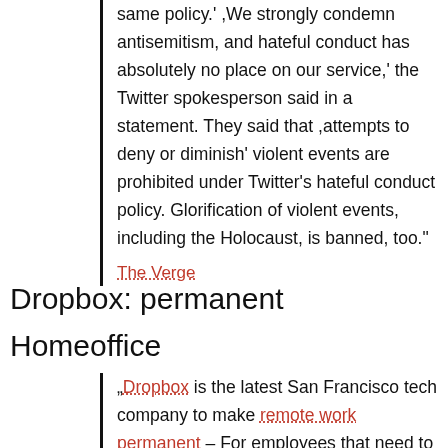same policy.' ,We strongly condemn antisemitism, and hateful conduct has absolutely no place on our service,' the Twitter spokesperson said in a statement. They said that ,attempts to deny or diminish' violent events are prohibited under Twitter's hateful conduct policy. Glorification of violent events, including the Holocaust, is banned, too."
The Verge
Dropbox: permanent Homeoffice
„Dropbox is the latest San Francisco tech company to make remote work permanent – For employees that need to meet or work together in person, the company is setting up ,Dropbox Studios' when it's safe to do so. – The company extended its mandatory work from home policy through June 2021. … More companies are starting to consider